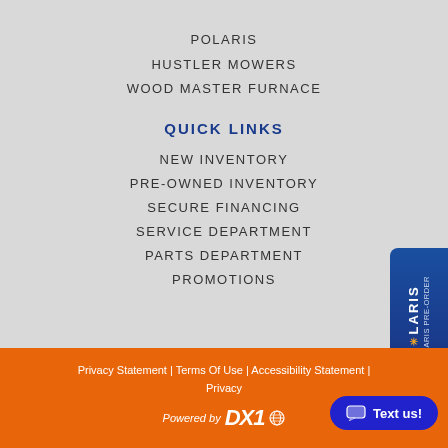POLARIS
HUSTLER MOWERS
WOOD MASTER FURNACE
QUICK LINKS
NEW INVENTORY
PRE-OWNED INVENTORY
SECURE FINANCING
SERVICE DEPARTMENT
PARTS DEPARTMENT
PROMOTIONS
[Figure (logo): Polaris Pre-Order vertical badge on right side, blue background with Polaris logo and text]
Privacy Statement | Terms Of Use | Accessibility Statement | Privacy
[Figure (logo): Powered by DX1 logo with globe icon]
[Figure (other): Text us! chat button, blue rounded rectangle with chat icon]